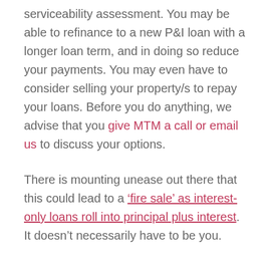serviceability assessment. You may be able to refinance to a new P&I loan with a longer loan term, and in doing so reduce your payments. You may even have to consider selling your property/s to repay your loans. Before you do anything, we advise that you give MTM a call or email us to discuss your options.
There is mounting unease out there that this could lead to a 'fire sale' as interest-only loans roll into principal plus interest. It doesn't necessarily have to be you.